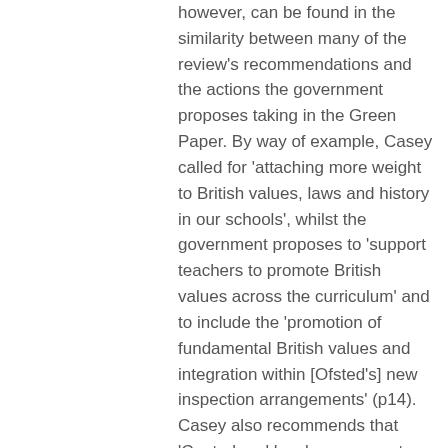however, can be found in the similarity between many of the review's recommendations and the actions the government proposes taking in the Green Paper. By way of example, Casey called for 'attaching more weight to British values, laws and history in our schools', whilst the government proposes to 'support teachers to promote British values across the curriculum' and to include the 'promotion of fundamental British values and integration within [Ofsted's] new inspection arrangements' (p14). Casey also recommends that 'Central and local government should develop a list of indicators of a potential breakdown in integration' (p167) and the Green Paper proposes to 'develop a clear set of integration measures at the local and national level so that policy makers and practitioners can monitor and measure progress' (p15).
Such synthesis is not surprising, but this does not mean that it should be welcomed. Louise Casey has a long and problematic relationship with the collection of evidence in support of policy